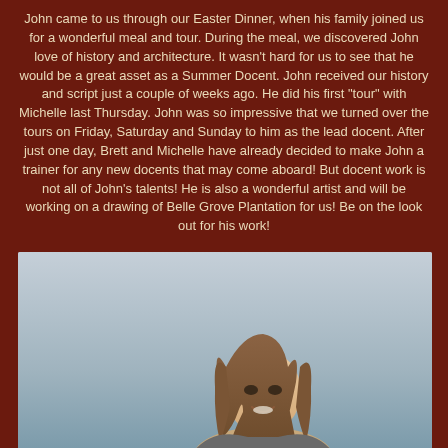John came to us through our Easter Dinner, when his family joined us for a wonderful meal and tour. During the meal, we discovered John love of history and architecture. It wasn't hard for us to see that he would be a great asset as a Summer Docent. John received our history and script just a couple of weeks ago. He did his first "tour" with Michelle last Thursday. John was so impressive that we turned over the tours on Friday, Saturday and Sunday to him as the lead docent. After just one day, Brett and Michelle have already decided to make John a trainer for any new docents that may come aboard! But docent work is not all of John's talents! He is also a wonderful artist and will be working on a drawing of Belle Grove Plantation for us! Be on the look out for his work!
[Figure (photo): A young woman with long brown wavy hair, smiling, photographed against a gray sky background.]